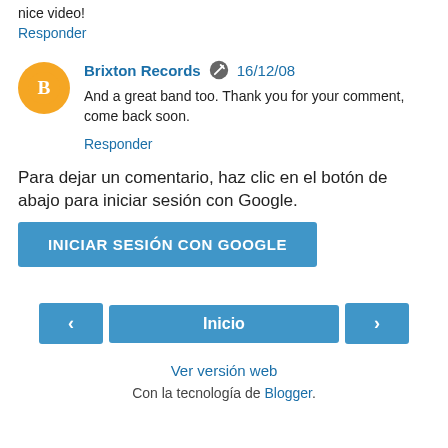nice video!
Responder
Brixton Records  16/12/08
And a great band too. Thank you for your comment, come back soon.
Responder
Para dejar un comentario, haz clic en el botón de abajo para iniciar sesión con Google.
INICIAR SESIÓN CON GOOGLE
‹
Inicio
›
Ver versión web
Con la tecnología de Blogger.